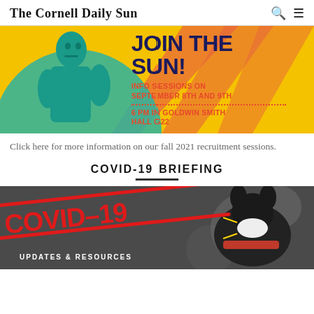The Cornell Daily Sun
[Figure (illustration): Join the Sun recruitment banner with teal statue illustration on yellow background. Text: JOIN THE SUN! INFO SESSIONS ON SEPTEMBER 8TH AND 9TH, 6 PM IN GOLDWIN SMITH HALL G22]
Click here for more information on our fall 2021 recruitment sessions.
COVID-19 BRIEFING
[Figure (photo): COVID-19 Updates & Resources banner with red diagonal text overlay on dark background, featuring a masked animal figurine]